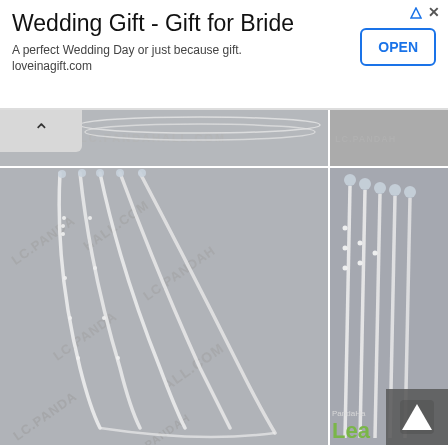[Figure (other): Advertisement banner: Wedding Gift - Gift for Bride, loveinagift.com, with OPEN button]
[Figure (photo): Photo grid showing white pearl bead strands/jewelry with LC.PANDAHALL.COM watermarks. Top strip and two main images showing multiple strands of white seed beads arranged in a fan/tassel pattern.]
Step 8: Make the eighth part of the pearl bead ball necklace
1st, add one yellow and white pearl bead pattern, a 6mm yellow round pearl bead to the wire (as shown in the picture);
2nd, add a 6mm yellow round pearl bead, the lager oval pearl bead...